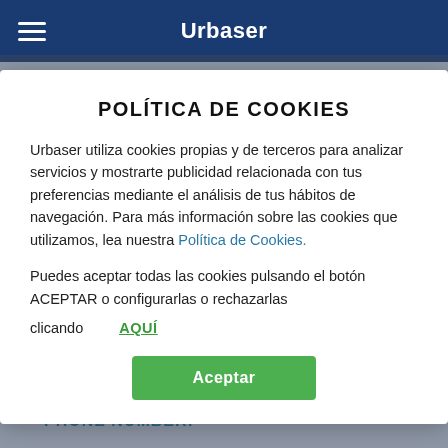Urbaser
POLÍTICA DE COOKIES
Urbaser utiliza cookies propias y de terceros para analizar servicios y mostrarte publicidad relacionada con tus preferencias mediante el análisis de tus hábitos de navegación. Para más información sobre las cookies que utilizamos, lea nuestra Política de Cookies.
Puedes aceptar todas las cookies pulsando el botón ACEPTAR o configurarlas o rechazarlas
clicando    AQUÍ
PHONE NUMBER: